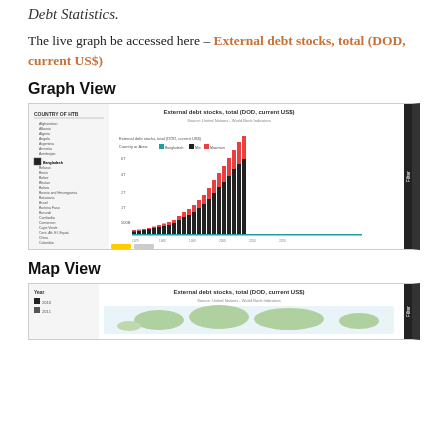Debt Statistics.
The live graph be accessed here – External debt stocks, total (DOD, current US$)
Graph View
[Figure (screenshot): Screenshot of an interactive bar chart showing External debt stocks, total (DOD, current US$) with stacked bars by year growing from left to right, with a country list on the left side and colored bars (dark, red, teal) for different series.]
Map View
[Figure (screenshot): Screenshot of an interactive map view showing External debt stocks, total (DOD, current US$) with legend showing years.]